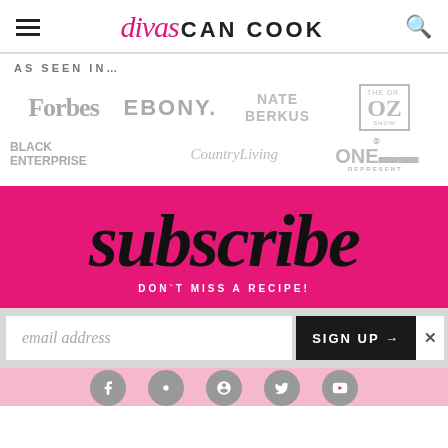divas CAN COOK
AS SEEN IN…
[Figure (logo): Media logos: Forbes, EBONY, Nate Berkus, The Dr. OZ Show, Black Enterprise, Country Living, TV ONE REPRESENT]
subscribe
DON'T MISS A RECIPE!
email address  SIGN UP →  ×